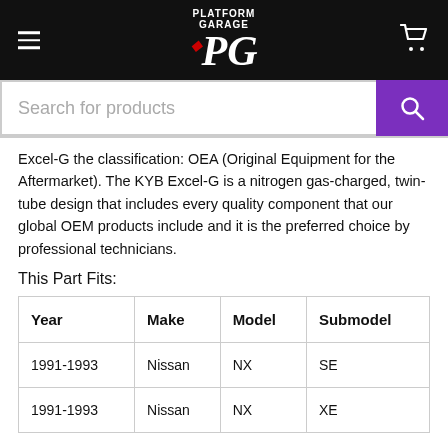[Figure (logo): Platform Garage PG logo in white text on black background with hamburger menu icon on left and cart icon on right]
[Figure (screenshot): Search bar with placeholder text 'Search for products' and purple search button with magnifying glass icon]
Excel-G the classification: OEA (Original Equipment for the Aftermarket). The KYB Excel-G is a nitrogen gas-charged, twin-tube design that includes every quality component that our global OEM products include and it is the preferred choice by professional technicians.
This Part Fits:
| Year | Make | Model | Submodel |
| --- | --- | --- | --- |
| 1991-1993 | Nissan | NX | SE |
| 1991-1993 | Nissan | NX | XE |